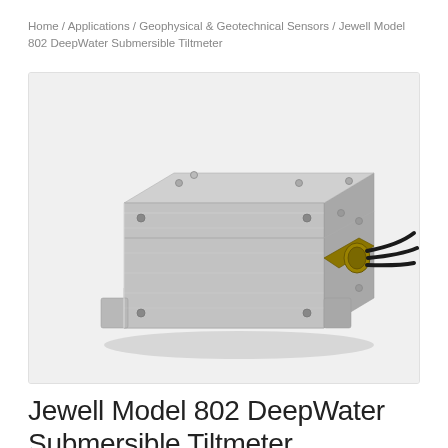Home / Applications / Geophysical & Geotechnical Sensors / Jewell Model 802 DeepWater Submersible Tiltmeter
[Figure (photo): Photo of the Jewell Model 802 DeepWater Submersible Tiltmeter — a rectangular brushed stainless steel enclosure with mounting flanges, corner screws, and a brass cable connector on the right side with three black cables exiting.]
Jewell Model 802 DeepWater Submersible Tiltmeter